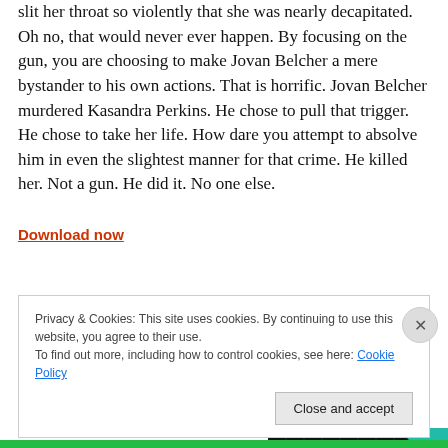slit her throat so violently that she was nearly decapitated. Oh no, that would never ever happen. By focusing on the gun, you are choosing to make Jovan Belcher a mere bystander to his own actions. That is horrific. Jovan Belcher murdered Kasandra Perkins. He chose to pull that trigger. He chose to take her life. How dare you attempt to absolve him in even the slightest manner for that crime. He killed her. Not a gun. He did it. No one else.
[Figure (screenshot): Download now link (orange/red text) beside a podcast app image showing '99% INVISIBLE' on a dark background with colorful geometric shapes]
Privacy & Cookies: This site uses cookies. By continuing to use this website, you agree to their use.
To find out more, including how to control cookies, see here: Cookie Policy